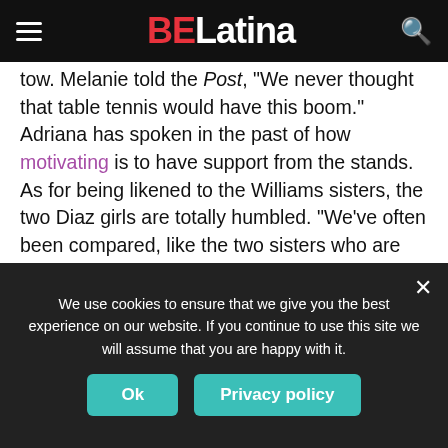BELatina
tow. Melanie told the Post, "We never thought that table tennis would have this boom." Adriana has spoken in the past of how motivating is to have support from the stands. As for being likened to the Williams sisters, the two Diaz girls are totally humbled. “We’ve often been compared, like the two sisters who are growing up together for the sport that they always worked and dreamed of,” Adriana told the Post. “That feels amazing. Serena is a legend, and so is Venus. Any comparison to them makes me proud.”
[Figure (photo): Partially visible advertisement banner with green and blue nature background]
We use cookies to ensure that we give you the best experience on our website. If you continue to use this site we will assume that you are happy with it.
Ok   Privacy policy